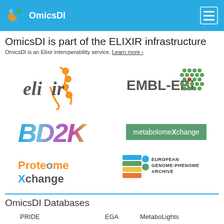OmicsDI
OmicsDI is part of the ELIXIR infrastructure
OmicsDI is an Elixir interoperability service. Learn more ›
[Figure (logo): ELIXIR logo - orange DNA helix with dots]
[Figure (logo): EMBL-EBI logo - green hexagonal pattern]
[Figure (logo): BD2K logo - stylized colorful bold text]
[Figure (logo): metabolomeXchange logo - green rectangle with white text]
[Figure (logo): ProteomeXchange logo - orange and blue text]
[Figure (logo): European Genome-Phenome Archive logo]
OmicsDI Databases
| PRIDE | EGA | MetaboLights |
| PeptideAtlas | EVA | Metabolomics |